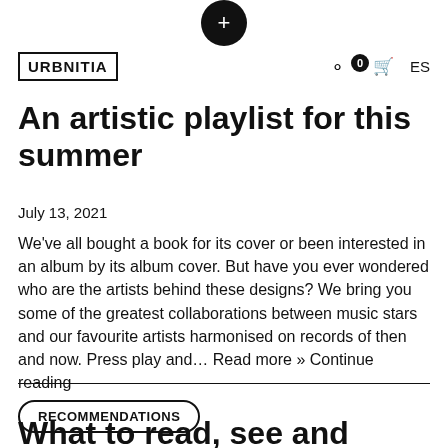URBNITIA
An artistic playlist for this summer
July 13, 2021
We've all bought a book for its cover or been interested in an album by its album cover. But have you ever wondered who are the artists behind these designs? We bring you some of the greatest collaborations between music stars and our favourite artists harmonised on records of then and now. Press play and… Read more » Continue reading
RECOMMENDATIONS
What to read, see and listen by